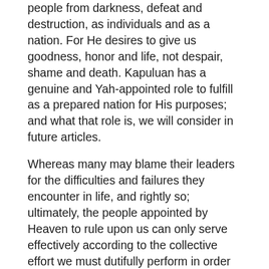people from darkness, defeat and destruction, as individuals and as a nation. For He desires to give us goodness, honor and life, not despair, shame and death. Kapuluan has a genuine and Yah-appointed role to fulfill as a prepared nation for His purposes; and what that role is, we will consider in future articles.
Whereas many may blame their leaders for the difficulties and failures they encounter in life, and rightly so; ultimately, the people appointed by Heaven to rule upon us can only serve effectively according to the collective effort we must dutifully perform in order to uphold the laws that serve as our protection against enemies who wish, precisely, to topple the leadership by violating those same laws. Bayanihan is a unified, collective principle, not a divided, disruptive process. The threat of disorder and rebellion through lawlessness and anti-bayanihan acts (often supported by foreign ideas and elements, the same way ancient Israel was often led astray) must be addressed, beginning in the mind and heart. Laws rule